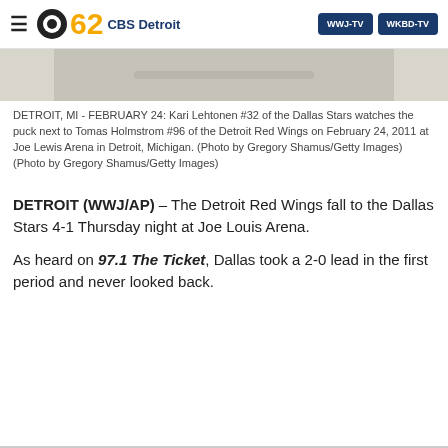CBS 62 CBS Detroit | WWJ-TV | WKBD-TV
[Figure (photo): Partial photo of hockey players at Joe Lewis Arena, light-colored background visible]
DETROIT, MI - FEBRUARY 24: Kari Lehtonen #32 of the Dallas Stars watches the puck next to Tomas Holmstrom #96 of the Detroit Red Wings on February 24, 2011 at Joe Lewis Arena in Detroit, Michigan. (Photo by Gregory Shamus/Getty Images)
(Photo by Gregory Shamus/Getty Images)
DETROIT (WWJ/AP) – The Detroit Red Wings fall to the Dallas Stars 4-1 Thursday night at Joe Louis Arena.
As heard on 97.1 The Ticket, Dallas took a 2-0 lead in the first period and never looked back.